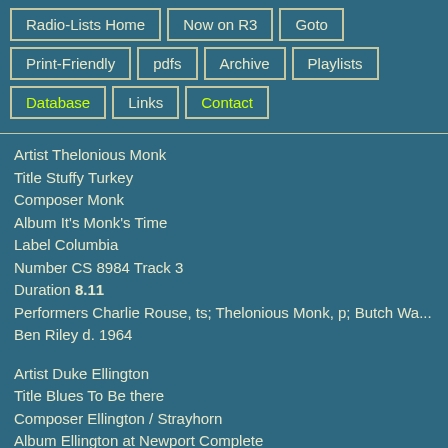Radio-Lists Home | Now on R3 | Goto | Print-Friendly | pdfs | Archive | Playlists | Database | Links | Contact
Artist Thelonious Monk
Title Stuffy Turkey
Composer Monk
Album It's Monk's Time
Label Columbia
Number CS 8984 Track 3
Duration 8.11
Performers Charlie Rouse, ts; Thelonious Monk, p; Butch Wa... Ben Riley d. 1964
Artist Duke Ellington
Title Blues To Be there
Composer Ellington / Strayhorn
Album Ellington at Newport Complete
Label Columbia